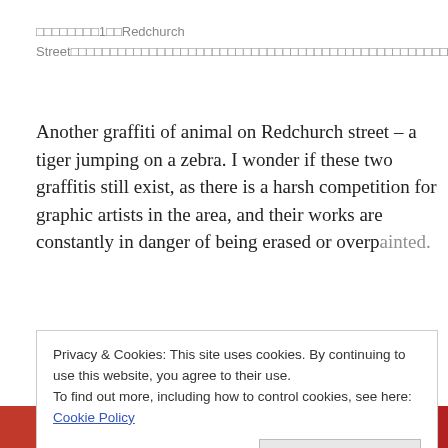□□□□□□□□1□□Redchurch Street□□□□□□□□□□□□□□□□□□□□□□□□□□□□□□□□□□□□□□□□□□□□□□□□□□□□□□□□□□□□2□□□□□□□□□□
Another graffiti of animal on Redchurch street – a tiger jumping on a zebra. I wonder if these two graffitis still exist, as there is a harsh competition for graphic artists in the area, and their works are constantly in danger of being erased or overpainted.
Privacy & Cookies: This site uses cookies. By continuing to use this website, you agree to their use.
To find out more, including how to control cookies, see here: Cookie Policy
Close and accept
[Figure (photo): Bottom strip showing a partial photo of zebra stripes and colorful graffiti art]